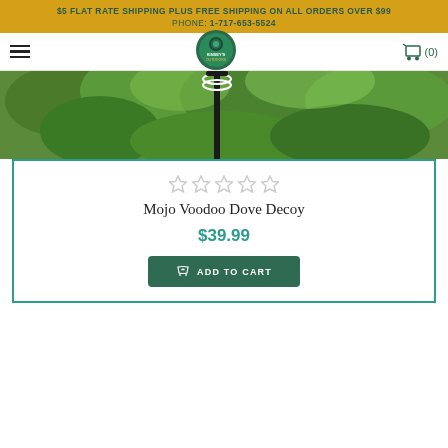$5 FLAT RATE SHIPPING PLUS FREE SHIPPING ON ALL ORDERS OVER $99
PHONE: 1-717-653-5524
[Figure (logo): Kinsey's Outdoors circular logo with green and teal design]
[Figure (photo): Close-up photo of a dove decoy on a stake surrounded by green foliage]
Mojo Voodoo Dove Decoy
$39.99
ADD TO CART